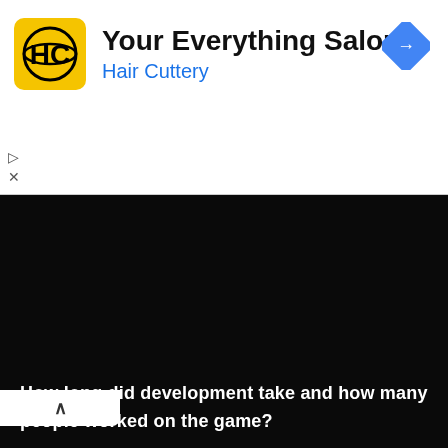[Figure (logo): Hair Cuttery advertisement banner with yellow HC logo, text 'Your Everything Salon' and 'Hair Cuttery' in blue, with a blue navigation/directions diamond icon top right]
[Figure (screenshot): Dark/black video player area with a collapsed white tab showing an upward chevron arrow]
How long did development take and how many people worked on the game?